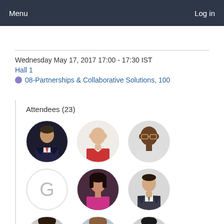Menu   Log in
Wednesday May 17, 2017 17:00 - 17:30 IST
Hall 1
08-Partnerships & Collaborative Solutions, 100
Attendees (23)
[Figure (photo): Grid of attendee profile photos: row 1 - man in dark suit, man in red top, man with glasses; row 2 - placeholder G icon, woman with dark hair, man in suit; row 3 - partial photos at bottom]